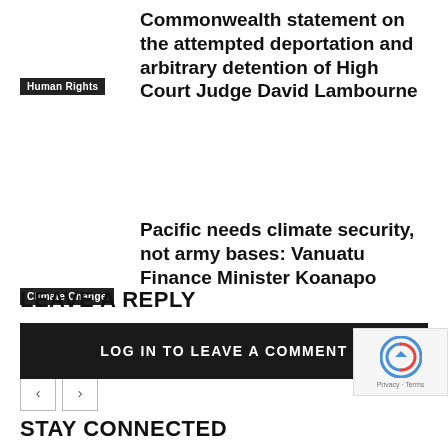Human Rights
Commonwealth statement on the attempted deportation and arbitrary detention of High Court Judge David Lambourne
Climate Change
Pacific needs climate security, not army bases: Vanuatu Finance Minister Koanapo
LEAVE A REPLY
LOG IN TO LEAVE A COMMENT
STAY CONNECTED